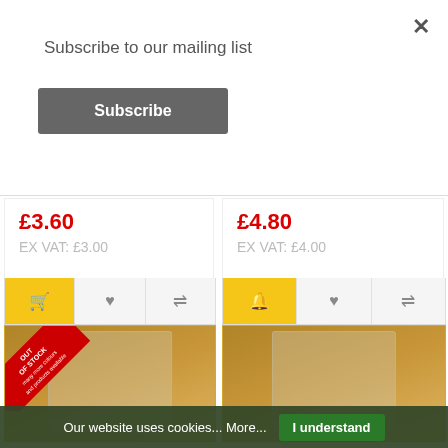×
Subscribe to our mailing list
Subscribe
£3.60
EX VAT: £3.00
£4.80
EX VAT: £4.00
[Figure (photo): Plastic bag product on wooden surface with OUT OF STOCK red banner]
[Figure (photo): Plastic bag product on wooden surface]
Our website uses cookies... More...
I understand